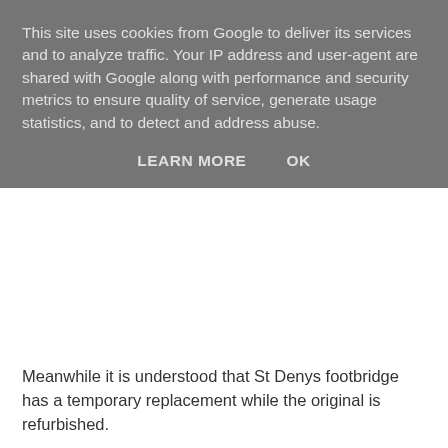This site uses cookies from Google to deliver its services and to analyze traffic. Your IP address and user-agent are shared with Google along with performance and security metrics to ensure quality of service, generate usage statistics, and to detect and address abuse.
LEARN MORE    OK
Meanwhile it is understood that St Denys footbridge has a temporary replacement while the original is refurbished.
47soton at 22:35
‹
Home
›
View web version
Powered by Blogger.